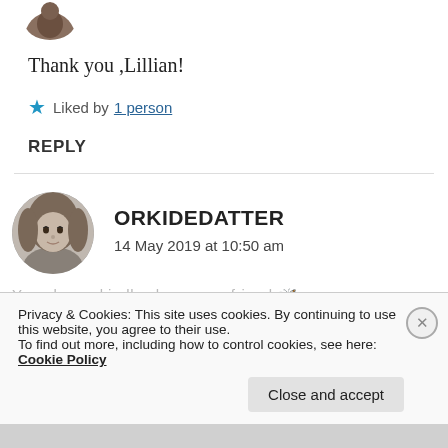[Figure (photo): Circular cropped avatar photo of a person, partially visible at top of page]
Thank you ,Lillian!
★ Liked by 1 person
REPLY
[Figure (photo): Circular profile photo of a young woman in black and white (ORKIDEDATTER)]
ORKIDEDATTER
14 May 2019 at 10:50 am
You always kindly share your friend 🦋
Privacy & Cookies: This site uses cookies. By continuing to use this website, you agree to their use.
To find out more, including how to control cookies, see here: Cookie Policy
Close and accept